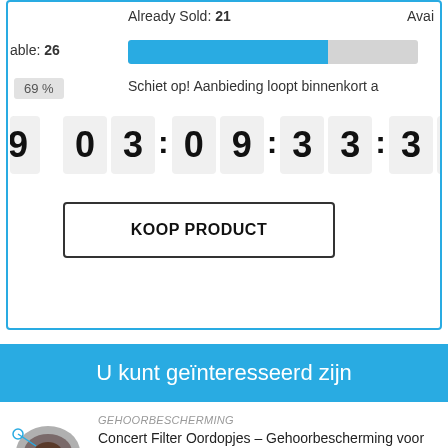Already Sold: 21
Available: 26
69 %
Schiet op! Aanbieding loopt binnenkort a...
f
03 : 09 : 33 : 39
KOOP PRODUCT
U kunt geïnteresseerd zijn
GEHOORBESCHERMING
Concert Filter Oordopjes – Gehoorbescherming voor Concert, Festival, DJ's, Muzikanten, etc. – 23 db